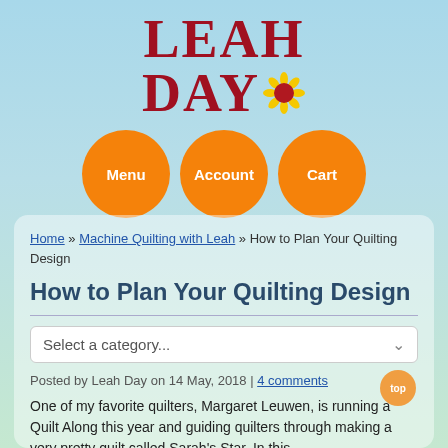[Figure (logo): Leah Day website logo with red serif text LEAH DAY and a sunflower graphic, plus three orange circle navigation buttons labeled Menu, Account, Cart]
Home » Machine Quilting with Leah » How to Plan Your Quilting Design
How to Plan Your Quilting Design
Select a category...
Posted by Leah Day on 14 May, 2018 | 4 comments
One of my favorite quilters, Margaret Leuwen, is running a Quilt Along this year and guiding quilters through making a very pretty quilt called Sarah's Star. In this